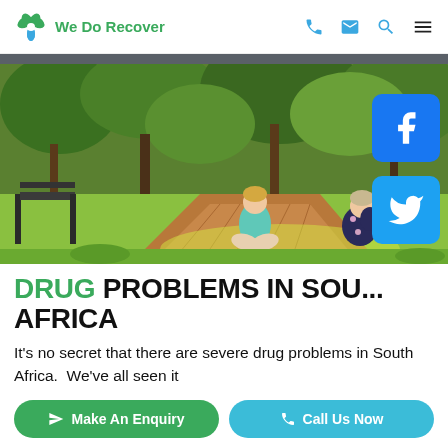We Do Recover
[Figure (photo): Two people sitting in a lush green park, one wearing a teal top and the other in a dark floral outfit, with trees and greenery in the background. Facebook and Twitter social media icons overlaid on the right side.]
DRUG PROBLEMS IN SOUTH AFRICA
It's no secret that there are severe drug problems in South Africa.  We've all seen it
Make An Enquiry
Call Us Now